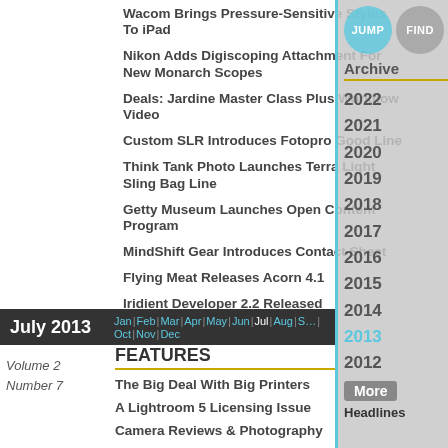Wacom Brings Pressure-Sensitive Stylus To iPad
Nikon Adds Digiscoping Attachment For New Monarch Scopes
Deals: Jardine Master Class Plus Workflow Video
Custom SLR Introduces Fotopro Good Line
Think Tank Photo Launches Terra Light Sling Bag Line
Getty Museum Launches Open Content Program
MindShift Gear Introduces Contact Sheet
Flying Meat Releases Acorn 4.1
Iridient Developer 2.2 Released
July 2013 | Jan | Feb | Mar | Apr | May | Jun | Jul | Aug | Sep | Oct | Nov | Dec
Volume 2
Number 7
FEATURES
The Big Deal With Big Printers
A Lightroom 5 Licensing Issue
Camera Reviews & Photography
Fluency, LeBron, Chumash, Sign & So On
[Figure (other): Archive panel overlay with year links: 2022, 2021, 2020, 2019, 2018, 2017, 2016, 2015, 2014, 2013 (active), 2012, More, Headlines]